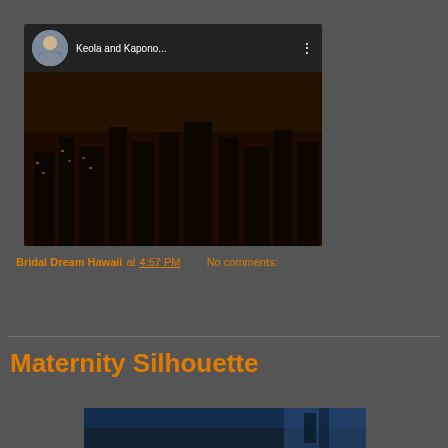[Figure (screenshot): YouTube video thumbnail showing 'Keola and Kapono...' with a circular avatar of a man, three-dot menu, play button on a dark city night scene background]
Bridal Dream Hawaii at 4:57 PM   No comments:
Share
Maternity Silhouette
[Figure (screenshot): Partial bottom image showing a blue-toned scene, appears to be beginning of another video thumbnail]